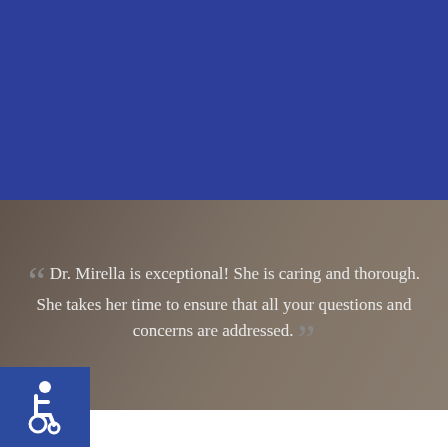[Figure (logo): Dolphin Pediatrics logo with stylized 'dp' icon and TopLine MD Alliance badge]
[Figure (screenshot): Hamburger menu icon (three horizontal bars)]
Dr. Mirella is exceptional! She is caring and thorough. She takes her time to ensure that all your questions and concerns are addressed.
[Figure (illustration): Wheelchair accessibility icon in white on blue background]
Request an Appointment
Have a question about our practice or want to